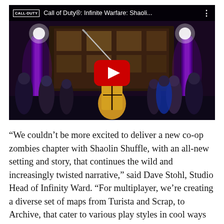[Figure (screenshot): YouTube video thumbnail for Call of Duty® Infinite Warfare: Shaolin Shuffle. Shows a game scene with a character in a yellow outfit holding a sword, surrounded by other characters in a dark, neon-lit club environment. A large red YouTube play button overlay is centered on the image. The top bar shows the Call of Duty logo, video title 'Call of Duty®: Infinite Warfare: Shaoli...' and a three-dot menu icon.]
“We couldn’t be more excited to deliver a new co-op zombies chapter with Shaolin Shuffle, with an all-new setting and story, that continues the wild and increasingly twisted narrative,” said Dave Stohl, Studio Head of Infinity Ward. “For multiplayer, we’re creating a diverse set of maps from Turista and Scrap, to Archive, that cater to various play styles in cool ways and allow fans to experiment with different rigs and loadouts. And then